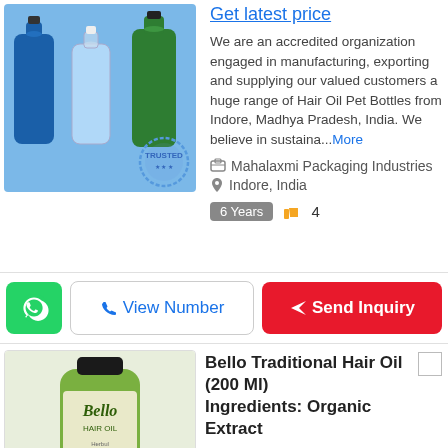[Figure (photo): Blue, clear, and green plastic bottles on a blue background, with a TRUSTED stamp in the bottom right corner]
Get latest price
We are an accredited organization engaged in manufacturing, exporting and supplying our valued customers a huge range of Hair Oil Pet Bottles from Indore, Madhya Pradesh, India. We believe in sustaina...More
Mahalaxmi Packaging Industries
Indore, India
6 Years  4
View Number
Send Inquiry
[Figure (photo): Bello Hair Oil green bottle with black cap showing Herbul Traditional Ayurvedic Oil label, TRUSTED stamp at bottom right]
Bello Traditional Hair Oil (200 Ml) Ingredients: Organic Extract
160 INR
Get latest price
MOQ: 50 Pack
Alchol Free:Yes
Product Type:Herbal Products
Ingredients:Organic Extract